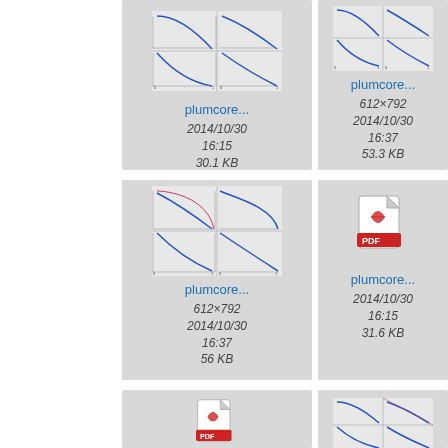[Figure (screenshot): File browser grid showing document thumbnails. Row 1: plumcore... (plot thumbnail, 2014/10/30 16:15, 30.1 KB), plumcore... (612x792 plot thumbnail, 2014/10/30 16:37, 53.3 KB), partial third cell. Row 2: plumcore... (612x792 plot thumbnail, 2014/10/30 16:37, 56 KB), plumcore... (PDF icon, 2014/10/30 16:15, 31.6 KB), partial third cell. Row 3: PDF icon cell, plot thumbnail cell.]